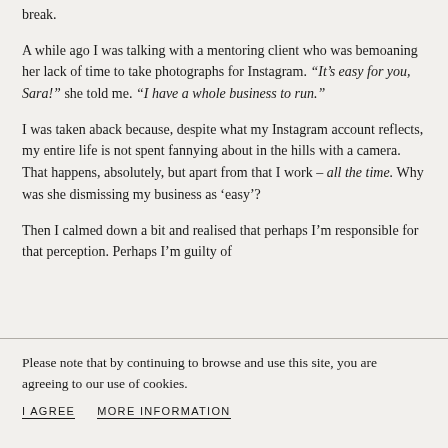break.
A while ago I was talking with a mentoring client who was bemoaning her lack of time to take photographs for Instagram. “It’s easy for you, Sara!” she told me. “I have a whole business to run.”
I was taken aback because, despite what my Instagram account reflects, my entire life is not spent fannying about in the hills with a camera. That happens, absolutely, but apart from that I work – all the time. Why was she dismissing my business as ‘easy’?
Then I calmed down a bit and realised that perhaps I’m responsible for that perception. Perhaps I’m guilty of
Please note that by continuing to browse and use this site, you are agreeing to our use of cookies.
I AGREE   MORE INFORMATION